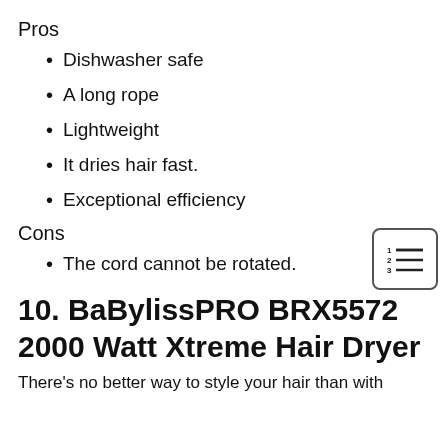Pros
Dishwasher safe
A long rope
Lightweight
It dries hair fast.
Exceptional efficiency
Cons
The cord cannot be rotated.
10. BaBylissPRO BRX5572 2000 Watt Xtreme Hair Dryer
There’s no better way to style your hair than with